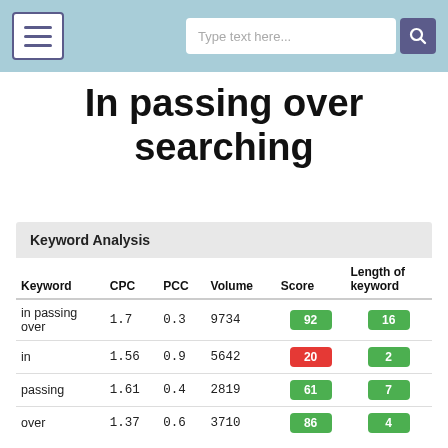Type text here...
In passing over searching
Keyword Analysis
| Keyword | CPC | PCC | Volume | Score | Length of keyword |
| --- | --- | --- | --- | --- | --- |
| in passing over | 1.7 | 0.3 | 9734 | 92 | 16 |
| in | 1.56 | 0.9 | 5642 | 20 | 2 |
| passing | 1.61 | 0.4 | 2819 | 61 | 7 |
| over | 1.37 | 0.6 | 3710 | 86 | 4 |